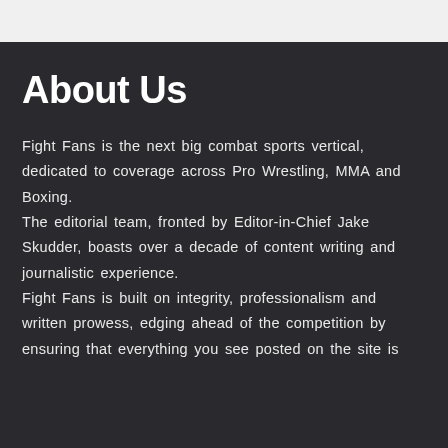About Us
Fight Fans is the next big combat sports vertical, dedicated to coverage across Pro Wrestling, MMA and Boxing.
The editorial team, fronted by Editor-in-Chief Jake Skudder, boasts over a decade of content writing and journalistic experience.
Fight Fans is built on integrity, professionalism and written prowess, edging ahead of the competition by ensuring that everything you see posted on the site is